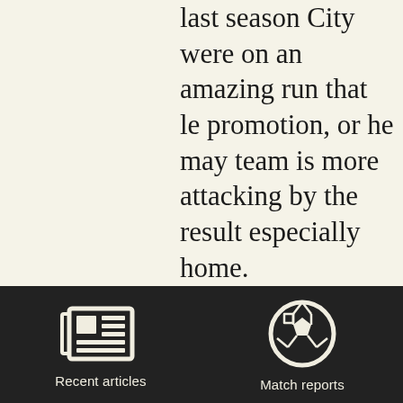last season City were on an amazing run that led to promotion, or he may feel his team is more attacking minded by the result especially at home.

You will have you own view, dear reader, on if those facts are compelling and if he has delivered what he was hired for – attacking football.
[Figure (infographic): Dark navigation bar with two icons: a newspaper icon labeled 'Recent articles' and a soccer ball icon labeled 'Match reports']